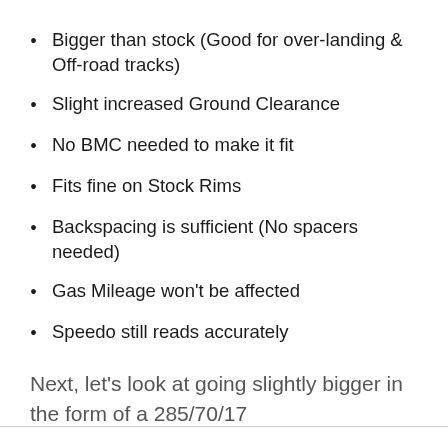Bigger than stock (Good for over-landing & Off-road tracks)
Slight increased Ground Clearance
No BMC needed to make it fit
Fits fine on Stock Rims
Backspacing is sufficient (No spacers needed)
Gas Mileage won't be affected
Speedo still reads accurately
Next, let's look at going slightly bigger in the form of a 285/70/17